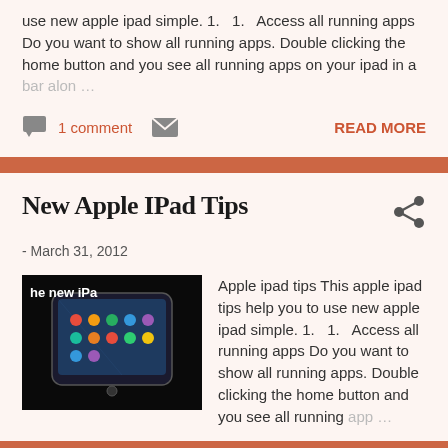use new apple ipad simple. 1.    1.    Access all running apps Do you want to show all running apps. Double clicking the home button and you see all running apps on your ipad in a bar alon …
1 comment
READ MORE
New Apple IPad Tips
- March 31, 2012
[Figure (photo): Thumbnail image of 'The new iPad' on dark background]
Apple ipad tips This apple ipad tips help you to use new apple ipad simple. 1.    1.    Access all running apps Do you want to show all running apps. Double clicking the home button and you see all running app …